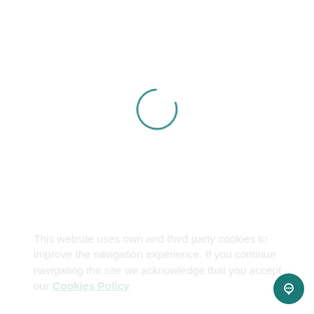[Figure (other): Loading spinner circle outline in teal/dark teal color, partially drawn circle indicating loading state]
This website uses own and third party cookies to improve the navigation experience. If you continue navigating the site we acknowledge that you accept our Cookies Policy
Close